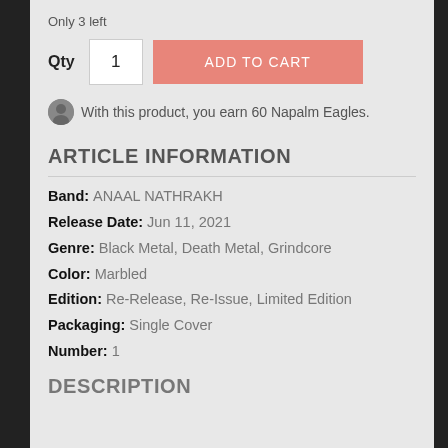Only 3 left
Qty  1  ADD TO CART
With this product, you earn 60 Napalm Eagles.
ARTICLE INFORMATION
Band: ANAAL NATHRAKH
Release Date: Jun 11, 2021
Genre: Black Metal, Death Metal, Grindcore
Color: Marbled
Edition: Re-Release, Re-Issue, Limited Edition
Packaging: Single Cover
Number: 1
DESCRIPTION